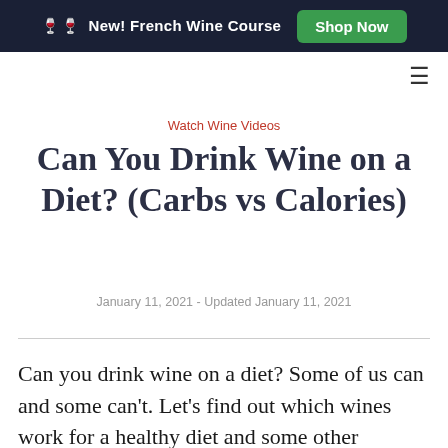🍷🍷 New! French Wine Course  Shop Now
Watch Wine Videos
Can You Drink Wine on a Diet? (Carbs vs Calories)
January 11, 2021 - Updated January 11, 2021
Can you drink wine on a diet? Some of us can and some can't. Let's find out which wines work for a healthy diet and some other important facts about